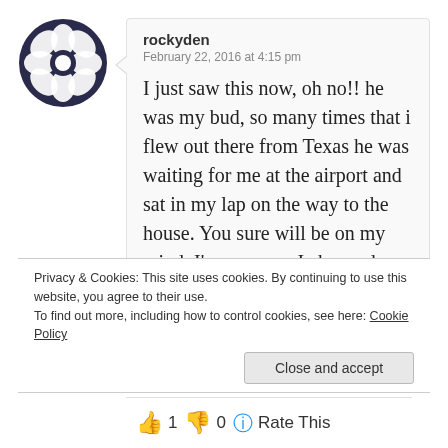[Figure (illustration): User avatar: dark circular icon with a flower/asterisk-like geometric pattern in white]
rockyden
February 22, 2016 at 4:15 pm
I just saw this now, oh no!! he was my bud, so many times that i flew out there from Texas he was waiting for me at the airport and sat in my lap on the way to the house. You sure will be on my mind, I'm so sorry. I changed my name from church organist to Rockden. Cause my new dog is named Rocky, he would have loved
Privacy & Cookies: This site uses cookies. By continuing to use this website, you agree to their use.
To find out more, including how to control cookies, see here: Cookie Policy
Close and accept
👍 1 👎 0 ℹ Rate This